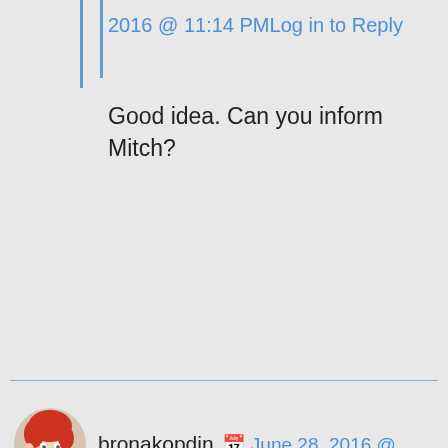2016 @ 11:14 PMLog in to Reply
Good idea. Can you inform Mitch?
bronakopdin  June 28, 2016 @ 10:55 PMLog in to Reply
“insolent, insignificant insects” that’s the alliteration of the year xD

Interesting how the oh so calm and superior Sircea is suddenly getting panicked and offending ^^
and kinda admitting it’s ok to be “taken...